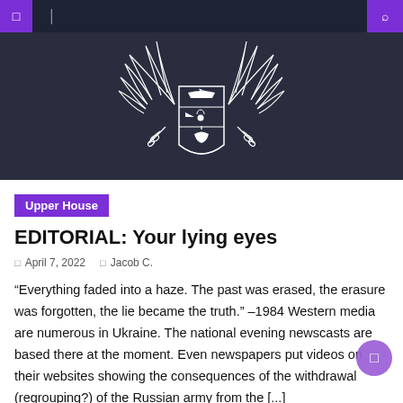Upper House — navigation header
[Figure (logo): University/institution coat of arms crest with wings on dark background]
Upper House
EDITORIAL: Your lying eyes
April 7, 2022   Jacob C.
“Everything faded into a haze. The past was erased, the erasure was forgotten, the lie became the truth.” –1984 Western media are numerous in Ukraine. The national evening newscasts are based there at the moment. Even newspapers put videos on their websites showing the consequences of the withdrawal (regrouping?) of the Russian army from the [...]